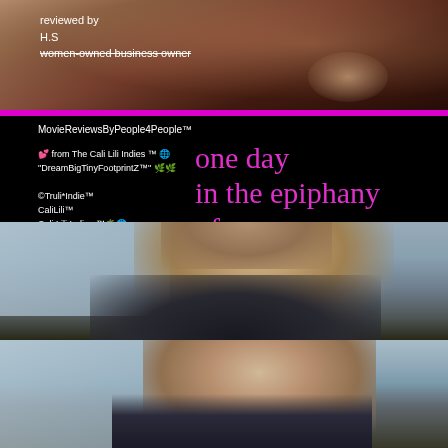[Figure (photo): Close-up photo of a woman's face with warm skin tones and reddish-brown hair, dark background]
reviewed by
H.S
women-owned business owner
[Figure (screenshot): Black background movie review card with pink/magenta title text reading 'one day in the epiphany of a 21st Century Girl,' and white text listing MovieReviewsByPeople4People, CaliLili Indies credits]
MovieReviewsByPeople4People™
💕 from The Cali Lili Indies ™ 🌐one day
"DreamBigTinyFootprintZ™" 🌿🌿

©Truli*Indie™
CaliLili™
Cali Lili Indies ™🌴🌐
Pictures
Words
Music
In
Motion™🎬📱
femt0™studi0🌿🌿
VenusBeach™🌿🌿🌿🌐
one day
in the epiphany
of a
21st Century Girl,
[Figure (photo): Photo of a young blonde woman with slicked-back hair wearing a dark jacket, smiling slightly, with a blurred waterfront/marina background]